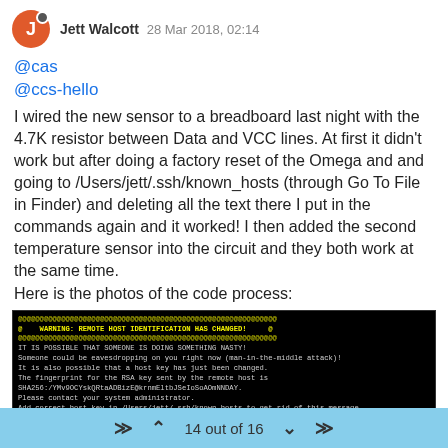Jett Walcott 28 Mar 2018, 02:14
@cas
@ccs-hello
I wired the new sensor to a breadboard last night with the 4.7K resistor between Data and VCC lines. At first it didn't work but after doing a factory reset of the Omega and and going to /Users/jett/.ssh/known_hosts (through Go To File in Finder) and deleting all the text there I put in the commands again and it worked! I then added the second temperature sensor into the circuit and they both work at the same time.
Here is the photos of the code process:
[Figure (screenshot): Terminal/SSH warning screenshot showing 'WARNING: REMOTE HOST IDENTIFICATION HAS CHANGED!' message and subsequent SSH commands on a black background]
14 out of 16